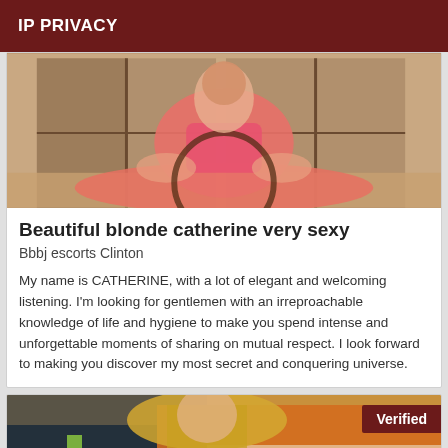IP PRIVACY
[Figure (photo): Photo of a person in pink outfit, mirror selfie in a room]
Beautiful blonde catherine very sexy
Bbbj escorts Clinton
My name is CATHERINE, with a lot of elegant and welcoming listening. I'm looking for gentlemen with an irreproachable knowledge of life and hygiene to make you spend intense and unforgettable moments of sharing on mutual respect. I look forward to making you discover my most secret and conquering universe.
[Figure (photo): Photo of a person with blonde hair in orange top, with Verified badge overlay]